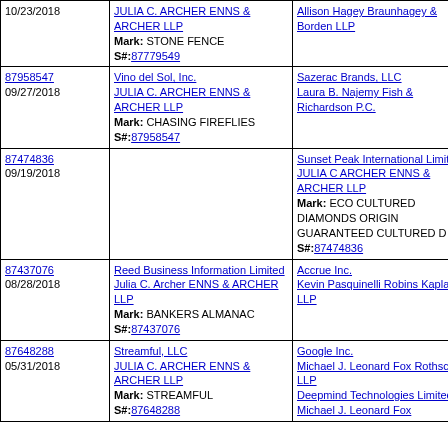| 10/23/2018
87779549 | JULIA C. ARCHER ENNS & ARCHER LLP
Mark: STONE FENCE
S#: 87779549 | Allison Hagey Braunhagey & Borden LLP |
| 87958547
09/27/2018 | Vino del Sol, Inc.
JULIA C. ARCHER ENNS & ARCHER LLP
Mark: CHASING FIREFLIES
S#: 87958547 | Sazerac Brands, LLC
Laura B. Najemy Fish & Richardson P.C. |
| 87474836
09/19/2018 |  | Sunset Peak International Limited
JULIA C ARCHER ENNS & ARCHER LLP
Mark: ECO CULTURED DIAMONDS ORIGIN GUARANTEED CULTURED D
S#: 87474836 |
| 87437076
08/28/2018 | Reed Business Information Limited
Julia C. Archer ENNS & ARCHER LLP
Mark: BANKERS ALMANAC
S#: 87437076 | Accrue Inc.
Kevin Pasquinelli Robins Kaplan LLP |
| 87648288
05/31/2018 | Streamful, LLC
JULIA C. ARCHER ENNS & ARCHER LLP
Mark: STREAMFUL
S#: 87648288 | Google Inc.
Michael J. Leonard Fox Rothschild LLP
Deepmind Technologies Limited
Michael J. Leonard Fox |